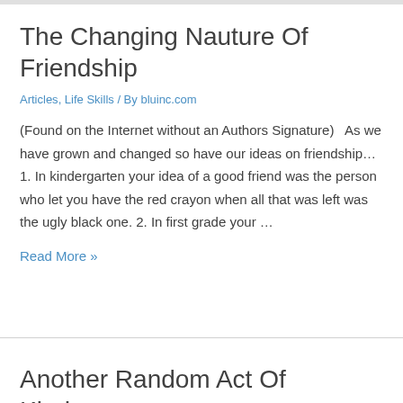The Changing Nauture Of Friendship
Articles, Life Skills / By bluinc.com
(Found on the Internet without an Authors Signature)   As we have grown and changed so have our ideas on friendship… 1. In kindergarten your idea of a good friend was the person who let you have the red crayon when all that was left was the ugly black one. 2. In first grade your …
Read More »
Another Random Act Of Kindness